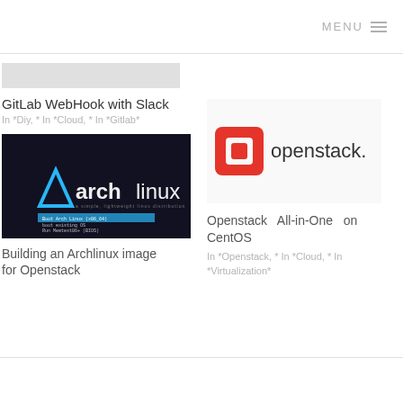MENU
[Figure (screenshot): Arch Linux boot screen screenshot showing blue arch linux logo and boot menu text]
GitLab WebHook with Slack
In *Diy, * In *Cloud, * In *Gitlab*
[Figure (logo): OpenStack logo - red square icon with openstack. wordmark]
Building an Archlinux image for Openstack
Openstack All-in-One on CentOS
In *Openstack, * In *Cloud, * In *Virtualization*